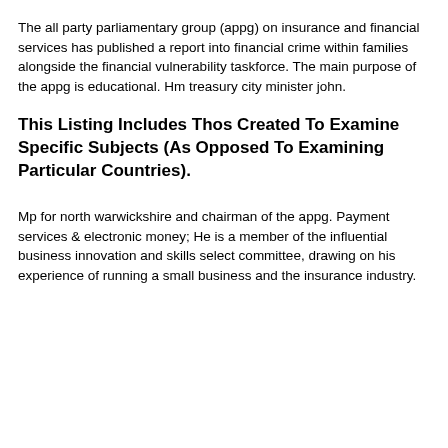The all party parliamentary group (appg) on insurance and financial services has published a report into financial crime within families alongside the financial vulnerability taskforce. The main purpose of the appg is educational. Hm treasury city minister john.
This Listing Includes Thos Created To Examine Specific Subjects (As Opposed To Examining Particular Countries).
Mp for north warwickshire and chairman of the appg. Payment services & electronic money; He is a member of the influential business innovation and skills select committee, drawing on his experience of running a small business and the insurance industry.